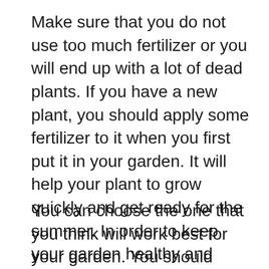Make sure that you do not use too much fertilizer or you will end up with a lot of dead plants. If you have a new plant, you should apply some fertilizer to it when you first put it in your garden. It will help your plant to grow quickly and get ready for the summer. In order to keep your garden healthy and happy, you will need to know how to fertilize your plants. There are many types of fertilizers available today.
You can choose the one that you think will work best for your garden. You should fertilize your plants during the growing
x